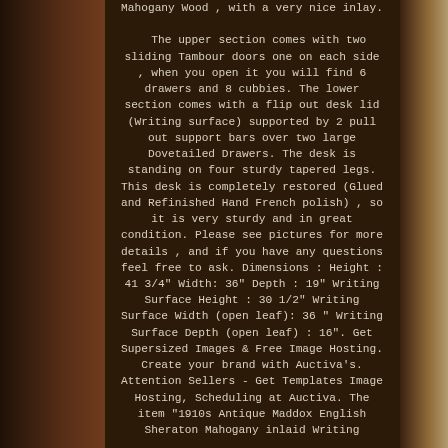Mahogany Wood , with a very nice inlay. The upper section comes with two sliding Tambour doors one on each side , when you open it you will find 6 drawers and 8 cubbies. The lower section comes with a flip out desk lid (Writing surface) supported by 2 pull out support bars over two large Dovetailed Drawers. The desk is standing on four sturdy tapered legs. This desk is completely restored (Glued and Refinished Hand French polish) , so it is very sturdy and in great condition. Please see pictures for more details , and if you have any questions feel free to ask. Dimensions : Height : 41 3/4" Width: 36" Depth : 19" Writing Surface Height : 30 1/2" Writing Surface Width (open leaf): 36 " Writing Surface Depth (open leaf) : 16". Get Supersized Images & Free Image Hosting. Create your brand with Auctiva's. Attention Sellers - Get Templates Image Hosting, Scheduling at Auctiva. The item "1910s Antique Maddox English Sheraton Mahogany inlaid Writing